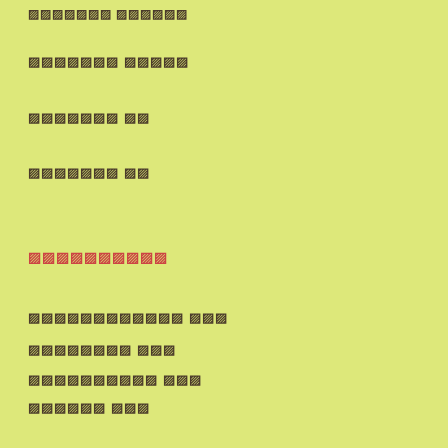▨▨▨▨▨▨▨ ▨▨▨▨▨▨
▨▨▨▨▨▨▨ ▨▨▨▨▨
▨▨▨▨▨▨▨ ▨▨
▨▨▨▨▨▨▨ ▨▨
▨▨▨▨▨▨▨▨▨▨
▨▨▨▨▨▨▨▨▨▨▨▨ ▨▨▨
▨▨▨▨▨▨▨▨ ▨▨▨
▨▨▨▨▨▨▨▨▨▨ ▨▨▨
▨▨▨▨▨▨ ▨▨▨
▨▨▨▨▨▨▨▨▨▨ ▨▨▨
▨▨▨▨▨▨▨▨▨▨ ▨▨
▨▨▨▨▨▨ ▨▨
▨▨▨▨▨▨▨▨ ▨▨